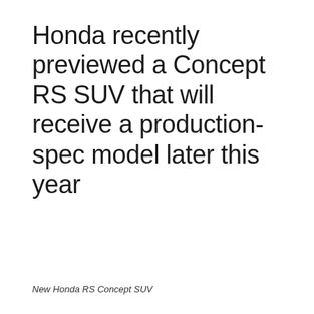Honda recently previewed a Concept RS SUV that will receive a production-spec model later this year
New Honda RS Concept SUV